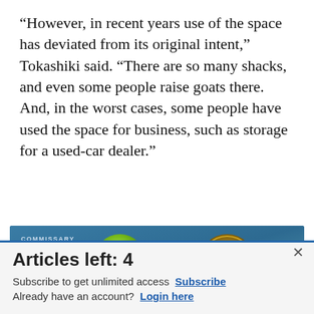&#8220;However, in recent years use of the space has deviated from its original intent,&#8221; Tokashiki said. &#8220;There are so many shacks, and even some people raise goats there. And, in the worst cases, some people have used the space for business, such as storage for a used-car dealer.&#8221;
[Figure (infographic): Commissary Click2GO advertisement banner with green ball logo and Commissary badge logo on blue-grey gradient background. Text reads 'order groceries | PICKUP']
Articles left: 4
Subscribe to get unlimited access  Subscribe
Already have an account?  Login here